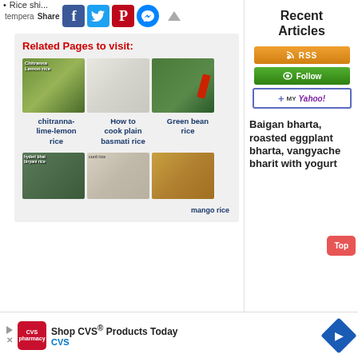Rice shi... tempera
Share
[Figure (screenshot): Social share buttons: Facebook, Twitter, Pinterest, Messenger]
Related Pages to visit:
[Figure (photo): chitranna-lime-lemon rice in a bowl]
[Figure (photo): How to cook plain basmati rice]
[Figure (photo): Green bean rice in a bowl with chili]
chitranna-lime-lemon rice
How to cook plain basmati rice
Green bean rice
[Figure (photo): Hyderabadi biryani rice]
[Figure (photo): curd rice]
[Figure (photo): mango rice]
mango rice
Recent Articles
[Figure (screenshot): RSS subscribe button]
[Figure (screenshot): Follow button]
[Figure (screenshot): My Yahoo button]
Baigan bharta, roasted eggplant bharta, vangyache bharit with yogurt
Top
[Figure (screenshot): CVS advertisement: Shop CVS Products Today]